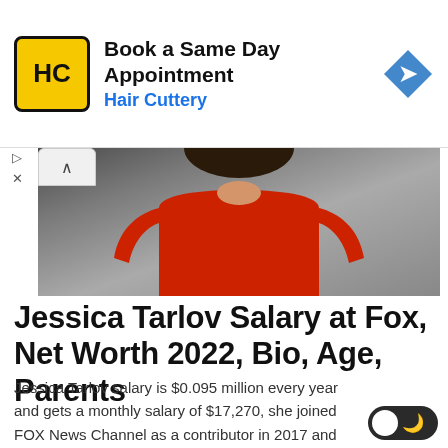[Figure (infographic): Hair Cuttery advertisement banner: Book a Same Day Appointment with Hair Cuttery logo (HC in yellow circle) and blue navigation arrow icon]
[Figure (photo): Partial photo of a woman in a red top/sweater against a gray gradient background, cropped showing torso and lower head]
Jessica Tarlov Salary at Fox, Net Worth 2022, Bio, Age, Parents
Jessica Tarlov salary is $0.095 million every year and gets a monthly salary of $17,270, she joined FOX News Channel as a contributor in 2017 and serves as a rotating co-host of The Five (weekdays, 5-6PM/ET).